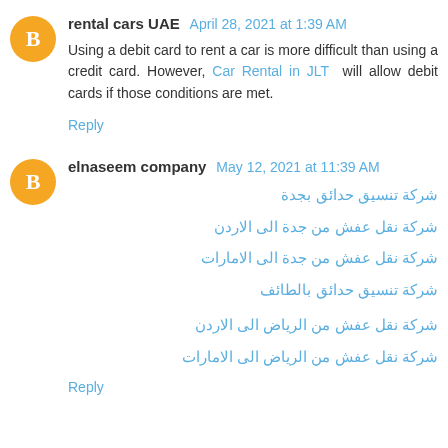rental cars UAE  April 28, 2021 at 1:39 AM
Using a debit card to rent a car is more difficult than using a credit card. However, Car Rental in JLT will allow debit cards if those conditions are met.
Reply
elnaseem company  May 12, 2021 at 11:39 AM
شركة تنسيق حدائق بجدة
شركة نقل عفش من جدة الى الاردن
شركة نقل عفش من جدة الى الامارات
شركة تنسيق حدائق بالطائف
شركة نقل عفش من الرياض الى الاردن
شركة نقل عفش من الرياض الى الامارات
Reply